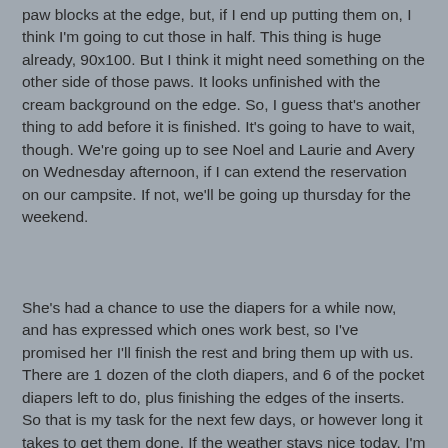paw blocks at the edge, but, if I end up putting them on, I think I'm going to cut those in half. This thing is huge already, 90x100. But I think it might need something on the other side of those paws. It looks unfinished with the cream background on the edge. So, I guess that's another thing to add before it is finished. It's going to have to wait, though. We're going up to see Noel and Laurie and Avery on Wednesday afternoon, if I can extend the reservation on our campsite. If not, we'll be going up thursday for the weekend.
She's had a chance to use the diapers for a while now, and has expressed which ones work best, so I've promised her I'll finish the rest and bring them up with us. There are 1 dozen of the cloth diapers, and 6 of the pocket diapers left to do, plus finishing the edges of the inserts. So that is my task for the next few days, or however long it takes to get them done. If the weather stays nice today, I'm going to take my sewing machine outside and work on them there. Here's a pic of little Avery in one of the diapers.